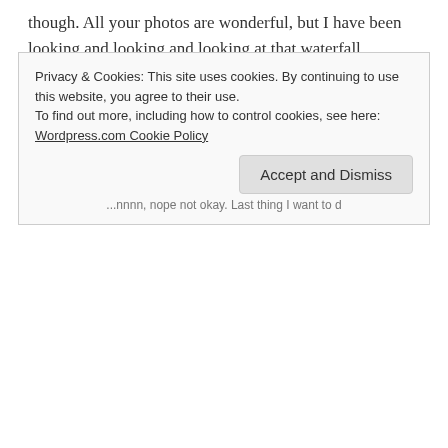though. All your photos are wonderful, but I have been looking and looking and looking at that waterfall...
Whoever gave you the Yaktrax deserves a big high five (at least).
Like
REPLY
Privacy & Cookies: This site uses cookies. By continuing to use this website, you agree to their use.
To find out more, including how to control cookies, see here:
Wordpress.com Cookie Policy
Accept and Dismiss
...nnnn, nope not okay. Last thing I want to d